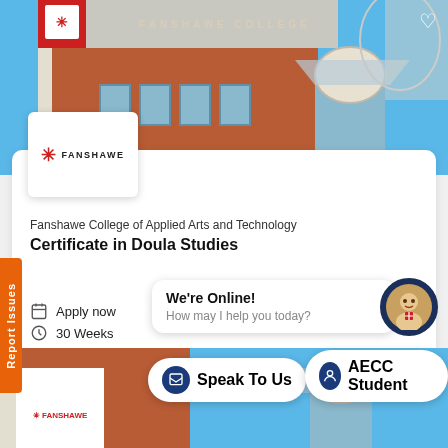[Figure (photo): Fanshawe College building exterior photo with red brick facade and blue sky]
[Figure (logo): Fanshawe College logo with red snowflake symbol and FANSHAWE text]
Fanshawe College of Applied Arts and Technology
Certificate in Doula Studies
Apply now
30 Weeks
Report Issues
We're Online!
How may I help you today?
Speak To Us
AECC Student